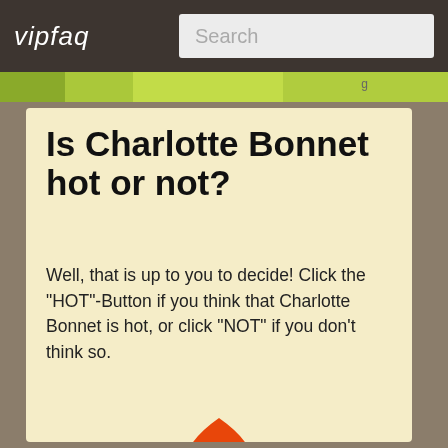vipfaq | Search
Is Charlotte Bonnet hot or not?
Well, that is up to you to decide! Click the "HOT"-Button if you think that Charlotte Bonnet is hot, or click "NOT" if you don't think so.
[Figure (illustration): Hot or Not flame graphic with the word 'Hot' in dark gothic lettering over flames, and 'NOT' in large dark dripping letters below, on a light yellow oval background with red and orange flame shapes]